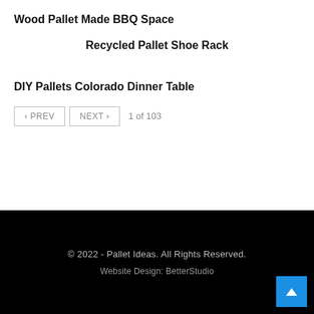Wood Pallet Made BBQ Space
Recycled Pallet Shoe Rack
DIY Pallets Colorado Dinner Table
‹ PREV   NEXT ›   1 of 103
© 2022 - Pallet Ideas. All Rights Reserved.
Website Design: BetterStudio